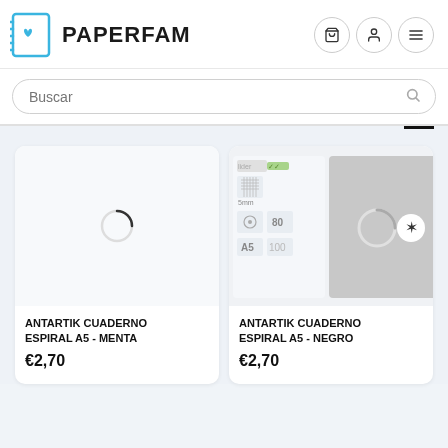[Figure (logo): Paperfam logo: blue outlined notebook icon with a heart, and bold text PAPERFAM]
Buscar
[Figure (photo): Product image placeholder for Antartik Cuaderno Espiral A5 - Menta (white/blank notebook, loading spinner)]
ANTARTIK CUADERNO ESPIRAL A5 - MENTA
€2,70
[Figure (photo): Product image for Antartik Cuaderno Espiral A5 - Negro showing notebook details: lider brand, 5mm grid, 80g paper, A5 size, 100 sheets, grey cover]
ANTARTIK CUADERNO ESPIRAL A5 - NEGRO
€2,70